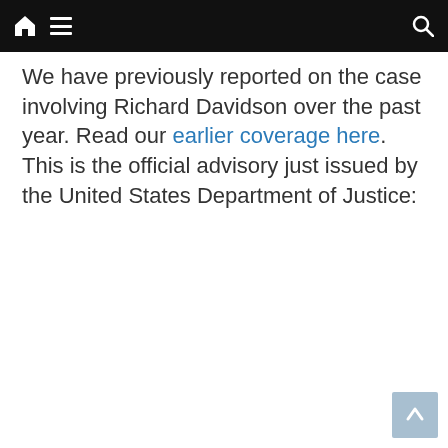[Navigation bar with home, menu, and search icons]
We have previously reported on the case involving Richard Davidson over the past year. Read our earlier coverage here. This is the official advisory just issued by the United States Department of Justice: